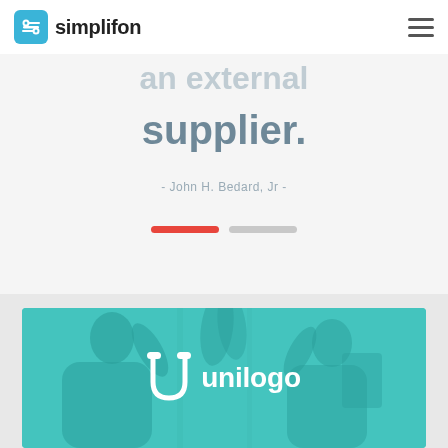simplifon
supplier.
- John H. Bedard, Jr -
[Figure (other): Two carousel indicator dots — one active red pill and one inactive gray pill]
[Figure (photo): Teal-overlaid photo of two people giving a high-five, with the Unilogo brand (U icon and 'unilogo' text in white) centered over the image]